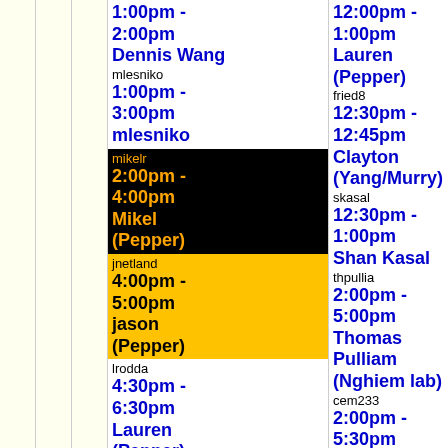| 1:00pm - 2:00pm
Dennis Wang
mlesniko
1:00pm - 3:00pm
mlesniko
[mikelr]
2:00pm - 4:00pm
Mikel (Pepper)
[jnetland]
4:00pm - 5:00pm
jason (Pepper)
lrodda
4:30pm - 6:30pm
Lauren (Pepper)
jcerva
6:00pm - 7:30pm
Jocelyn | 12:00pm - 1:00pm
Lauren (Pepper)
fried8
12:30pm - 12:45pm
Clayton (Yang/Murry)
skasal
12:30pm - 1:00pm
Shan Kasal
thpullia
2:00pm - 5:00pm
Thomas Pulliam (Nghiem lab)
cem233
2:00pm - 5:30pm
Courtney (Pepper)
yyangti
2:15pm - | Jaime G
jcerva
5:30pm
Jocelyn |